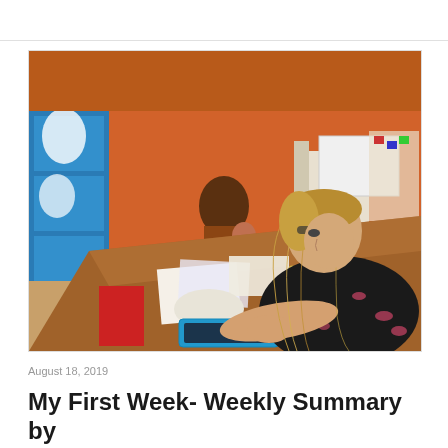[Figure (photo): A young woman with long blonde hair sitting at a large wooden table, writing or drawing on a piece of wood. She is wearing a dark floral top. In the background, a woman and child sit against an orange wall. The room has blue shelving, colorful decorations including an owl cutout, and a whiteboard. Various craft supplies and papers are spread on the table.]
August 18, 2019
My First Week- Weekly Summary by